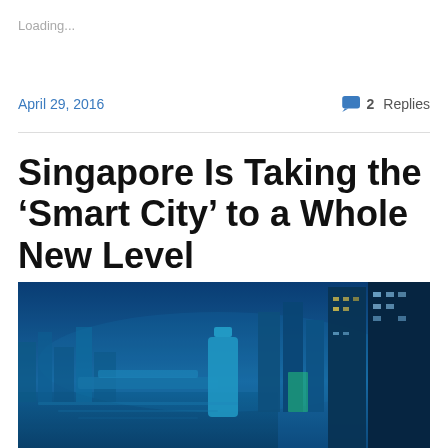Loading...
April 29, 2016
2 Replies
Singapore Is Taking the ‘Smart City’ to a Whole New Level
[Figure (photo): Aerial night view of Singapore city skyline with illuminated skyscrapers and waterfront, bathed in blue light]